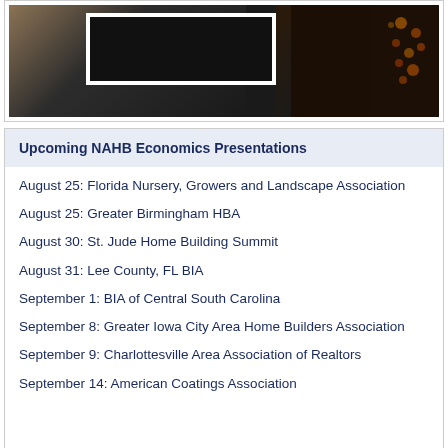[Figure (photo): Partial view of a dark-toned photo, possibly showing construction materials or a building site with orange lighting accents on the right side. A white-framed rectangular inset is visible in the center-left of the image.]
Upcoming NAHB Economics Presentations
August 25: Florida Nursery, Growers and Landscape Association
August 25: Greater Birmingham HBA
August 30: St. Jude Home Building Summit
August 31: Lee County, FL BIA
September 1: BIA of Central South Carolina
September 8: Greater Iowa City Area Home Builders Association
September 9: Charlottesville Area Association of Realtors
September 14: American Coatings Association